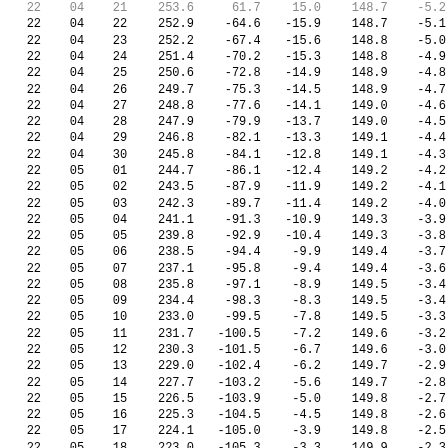| 22 | 04 | 21 | 253.6 | 61.7 | 15.0 | 148.7 | -5.2 |
| 22 | 04 | 22 | 252.9 | -64.6 | -15.9 | 148.7 | -5.1 |
| 22 | 04 | 23 | 252.2 | -67.4 | -15.6 | 148.8 | -5.0 |
| 22 | 04 | 24 | 251.4 | -70.2 | -15.3 | 148.8 | -4.9 |
| 22 | 04 | 25 | 250.6 | -72.8 | -14.9 | 148.9 | -4.8 |
| 22 | 04 | 26 | 249.7 | -75.3 | -14.5 | 148.9 | -4.7 |
| 22 | 04 | 27 | 248.8 | -77.6 | -14.1 | 149.0 | -4.6 |
| 22 | 04 | 28 | 247.9 | -79.9 | -13.7 | 149.0 | -4.5 |
| 22 | 04 | 29 | 246.8 | -82.1 | -13.3 | 149.1 | -4.4 |
| 22 | 04 | 30 | 245.8 | -84.1 | -12.8 | 149.1 | -4.3 |
| 22 | 05 | 01 | 244.7 | -86.1 | -12.4 | 149.2 | -4.2 |
| 22 | 05 | 02 | 243.5 | -87.9 | -11.9 | 149.2 | -4.1 |
| 22 | 05 | 03 | 242.3 | -89.7 | -11.4 | 149.2 | -4.0 |
| 22 | 05 | 04 | 241.1 | -91.3 | -10.9 | 149.3 | -3.9 |
| 22 | 05 | 05 | 239.8 | -92.9 | -10.4 | 149.3 | -3.8 |
| 22 | 05 | 06 | 238.5 | -94.4 | -9.9 | 149.4 | -3.7 |
| 22 | 05 | 07 | 237.1 | -95.8 | -9.4 | 149.4 | -3.6 |
| 22 | 05 | 08 | 235.8 | -97.1 | -8.9 | 149.5 | -3.4 |
| 22 | 05 | 09 | 234.4 | -98.3 | -8.3 | 149.5 | -3.4 |
| 22 | 05 | 10 | 233.0 | -99.5 | -7.8 | 149.5 | -3.3 |
| 22 | 05 | 11 | 231.7 | -100.5 | -7.2 | 149.6 | -3.2 |
| 22 | 05 | 12 | 230.3 | -101.5 | -6.7 | 149.6 | -3.0 |
| 22 | 05 | 13 | 229.0 | -102.4 | -6.2 | 149.7 | -2.9 |
| 22 | 05 | 14 | 227.7 | -103.2 | -5.6 | 149.7 | -2.8 |
| 22 | 05 | 15 | 226.5 | -103.9 | -5.0 | 149.8 | -2.7 |
| 22 | 05 | 16 | 225.3 | -104.5 | -4.5 | 149.8 | -2.6 |
| 22 | 05 | 17 | 224.1 | -105.0 | -3.9 | 149.8 | -2.5 |
| 22 | 05 | 18 | 223.0 | -105.3 | -3.3 | 149.9 | -2.3 |
| 22 | 05 | 19 | 222.0 | -105.5 | -2.8 | 149.9 | -2.2 |
| 22 | 05 | 20 | 221.0 | -105.6 | -2.2 | 149.9 | -2.1 |
| 22 | 05 | 21 | 220.1 | -105.5 | -1.6 | 150.0 | -2.0 |
| 22 | 05 | 22 | 219.1 | -105.2 | -1.0 | 150.0 | -1.8 |
| 22 | 05 | 23 | 218.3 | -104.8 | -0.4 | 150.1 | -1.7 |